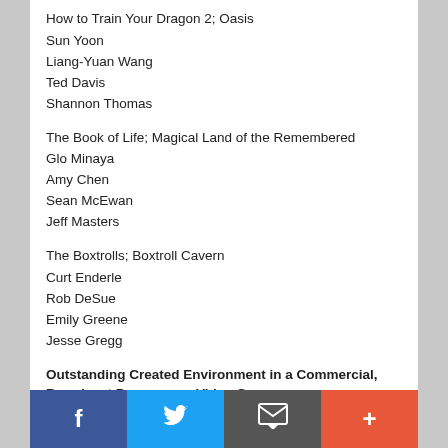How to Train Your Dragon 2; Oasis
Sun Yoon
Liang-Yuan Wang
Ted Davis
Shannon Thomas
The Book of Life; Magical Land of the Remembered
Glo Minaya
Amy Chen
Sean McEwan
Jeff Masters
The Boxtrolls; Boxtroll Cavern
Curt Enderle
Rob DeSue
Emily Greene
Jesse Gregg
Outstanding Created Environment in a Commercial, Broadcast Program, or Video Game
Coca-Cola; Snowy Forest
Tom Bardwell
Kevin Ives